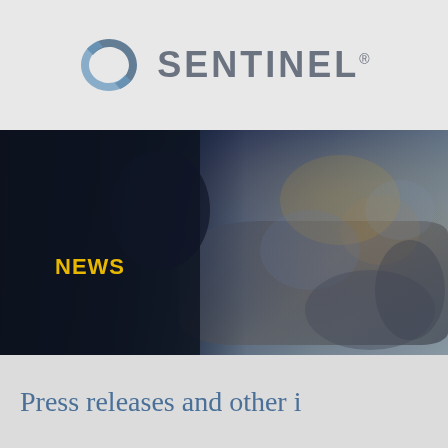[Figure (logo): Sentinel company logo with circular swirl icon and bold gray SENTINEL text with trademark symbol]
[Figure (photo): Dark banner image showing a blurred presenter/speaker silhouette against a blurred crowd background. Bold yellow 'NEWS' label overlaid on the left side.]
Press releases and other i